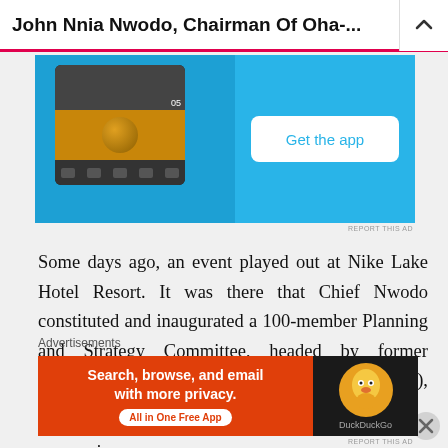John Nnia Nwodo, Chairman Of Oha-...
[Figure (screenshot): Mobile app advertisement with blue background showing a phone screen with a soccer ball image and a 'Get the app' button]
Some days ago, an event played out at Nike Lake Hotel Resort. It was there that Chief Nwodo constituted and inaugurated a 100-member Planning and Strategy Committee, headed by former governor of Central Bank of Nigeria (CBN), Professor Chukwuma Soludo.
The committee's mandate is to design both the economic an
Advertisements
[Figure (screenshot): DuckDuckGo advertisement: 'Search, browse, and email with more privacy. All in One Free App' with DuckDuckGo logo on dark background]